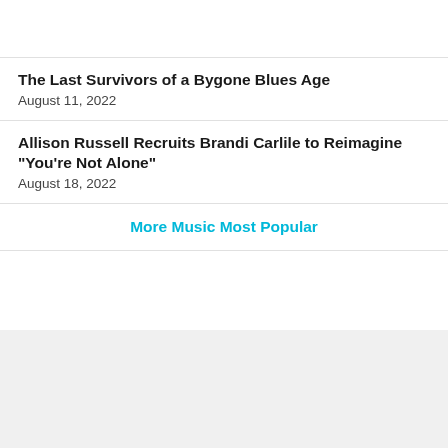The Last Survivors of a Bygone Blues Age
August 11, 2022
Allison Russell Recruits Brandi Carlile to Reimagine "You're Not Alone"
August 18, 2022
More Music Most Popular